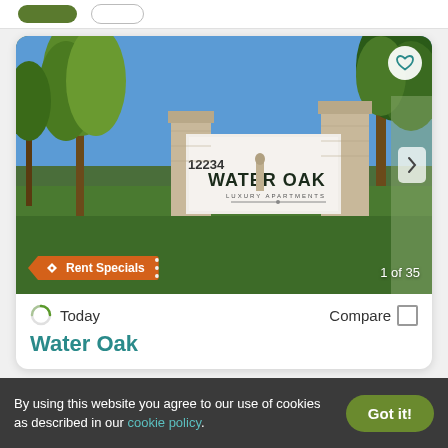[Figure (screenshot): Top bar with green filled button and outline button partially visible at top of page]
[Figure (photo): Photograph of Water Oak Luxury Apartments entrance sign with trees, grass, and blue sky. Address 12234 visible. Rent Specials badge in orange at bottom left. 1 of 35 photo count at bottom right.]
Today
Compare
Water Oak
By using this website you agree to our use of cookies as described in our cookie policy.
Got it!